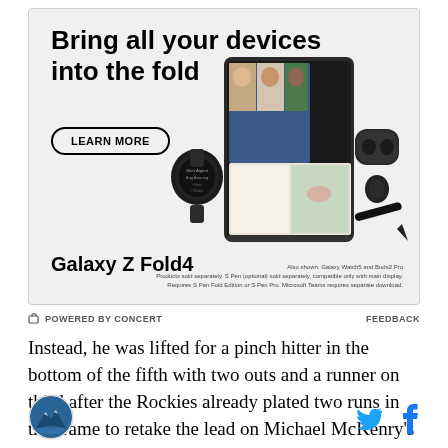[Figure (photo): Samsung Galaxy Z Fold4 advertisement showing a foldable phone with a video call, a Galaxy Watch5, Galaxy Buds2 Pro, and S Pen. Text reads 'Bring all your devices into the fold' with a 'LEARN MORE' button and product footnotes.]
POWERED BY CONCERT    FEEDBACK
Instead, he was lifted for a pinch hitter in the bottom of the fifth with two outs and a runner on third after the Rockies already plated two runs in the frame to retake the lead on Michael McKenry's home run.
[Figure (logo): Circular logo with mountain/lake scene]
[Figure (illustration): Twitter bird icon and Facebook f icon in cyan/blue]